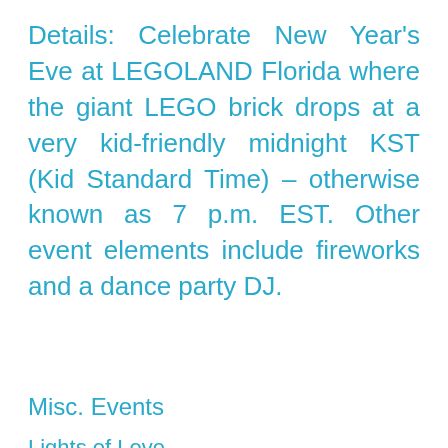Details: Celebrate New Year's Eve at LEGOLAND Florida where the giant LEGO brick drops at a very kid-friendly midnight KST (Kid Standard Time) – otherwise known as 7 p.m. EST. Other event elements include fireworks and a dance party DJ.
Misc. Events
Lights of Love
Date: Tuesday, December 6
Location: Lakeland, Henries House